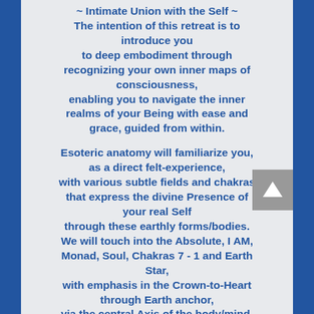~ Intimate Union with the Self ~
The intention of this retreat is to introduce you
to deep embodiment through recognizing your own inner maps of consciousness,
enabling you to navigate the inner realms of your Being with ease and grace, guided from within.

Esoteric anatomy will familiarize you, as a direct felt-experience,
with various subtle fields and chakras that express the divine Presence of your real Self
through these earthly forms/bodies.
We will touch into the Absolute, I AM, Monad, Soul, Chakras 7 - 1 and Earth Star,
with emphasis in the Crown-to-Heart through Earth anchor,
via the central Axis of the body/mind.

We will experience first-hand the alchemy of healing and wholeness